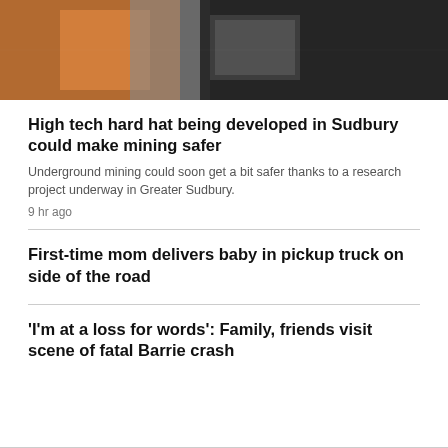[Figure (photo): Two workers in orange high-visibility jackets, one holding a tablet device, photographed underground or in a dark mining environment.]
High tech hard hat being developed in Sudbury could make mining safer
Underground mining could soon get a bit safer thanks to a research project underway in Greater Sudbury.
9 hr ago
First-time mom delivers baby in pickup truck on side of the road
'I'm at a loss for words': Family, friends visit scene of fatal Barrie crash